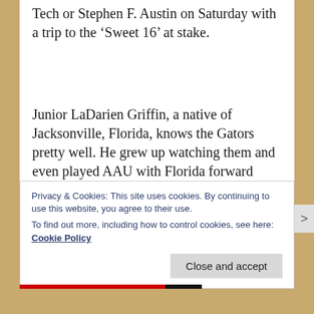Tech or Stephen F. Austin on Saturday with a trip to the ‘Sweet 16’ at stake.
Junior LaDarien Griffin, a native of Jacksonville, Florida, knows the Gators pretty well. He grew up watching them and even played AAU with Florida forward Kevarrius Hayes.
He couldn’t hold back his excitement when
Privacy & Cookies: This site uses cookies. By continuing to use this website, you agree to their use.
To find out more, including how to control cookies, see here:
Cookie Policy
Close and accept